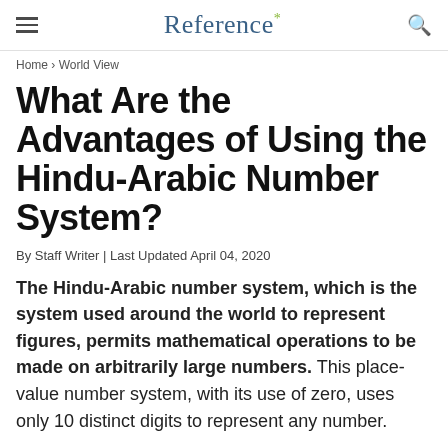Reference*
Home › World View
What Are the Advantages of Using the Hindu-Arabic Number System?
By Staff Writer | Last Updated April 04, 2020
The Hindu-Arabic number system, which is the system used around the world to represent figures, permits mathematical operations to be made on arbitrarily large numbers. This place-value number system, with its use of zero, uses only 10 distinct digits to represent any number.